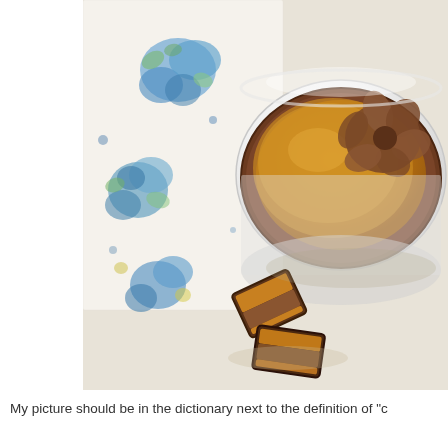[Figure (photo): A chocolate caramel tart in a white ramekin with chocolate cream piped on top in a flower shape, placed on a floral blue and white fabric, with two pieces of layered chocolate caramel candy beside it on a cream linen surface.]
My picture should be in the dictionary next to the definition of "c